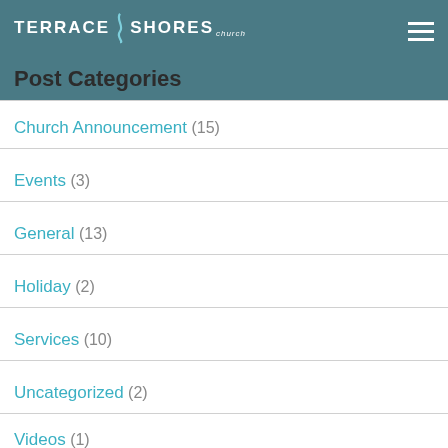Terrace Shores Church
Post Categories
Church Announcement (15)
Events (3)
General (13)
Holiday (2)
Services (10)
Uncategorized (2)
Videos (1)
Post Tags